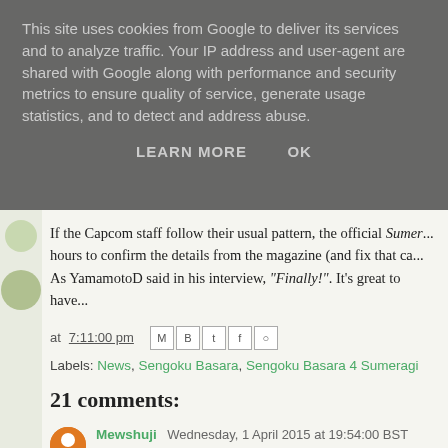This site uses cookies from Google to deliver its services and to analyze traffic. Your IP address and user-agent are shared with Google along with performance and security metrics to ensure quality of service, generate usage statistics, and to detect and address abuse.
LEARN MORE    OK
If the Capcom staff follow their usual pattern, the official Sumer... hours to confirm the details from the magazine (and fix that ca... As YamamotoD said in his interview, "Finally!". It's great to have...
at 7:11:00 pm
Labels: News, Sengoku Basara, Sengoku Basara 4 Sumeragi
21 comments:
Mewshuji Wednesday, 1 April 2015 at 19:54:00 BST
Echigozuka huh? Now I'm wondering if that could be referring... Hyottoko mask has a place based on the comments so I'm... Kenshin and Shingen were highlighted in particular! And I kne...